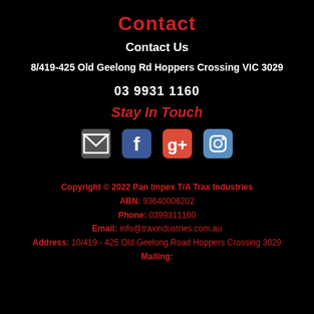Contact
Contact Us
8/419-425 Old Geelong Rd Hoppers Crossing VIC 3029
03 9931 1160
Stay In Touch
[Figure (infographic): Four social media icons: email (envelope), Facebook, Google+, Instagram]
Copyright © 2022 Pan Impex T/A Trax Industries
ABN: 93640006202
Phone: 0399311160
Email: info@traxindustries.com.au
Address: 10/419 - 425 Old Geelong Road Hoppers Crossing 3029
Mailing: